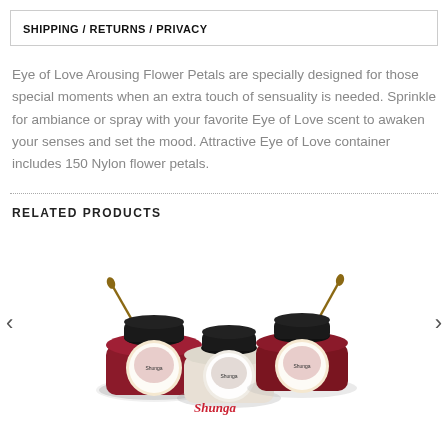SHIPPING / RETURNS / PRIVACY
Eye of Love Arousing Flower Petals are specially designed for those special moments when an extra touch of sensuality is needed. Sprinkle for ambiance or spray with your favorite Eye of Love scent to awaken your senses and set the mood. Attractive Eye of Love container includes 150 Nylon flower petals.
RELATED PRODUCTS
[Figure (photo): Product carousel showing three round Shunga body painting cream containers with brushes, arranged overlapping each other. Navigation arrows visible on left and right sides.]